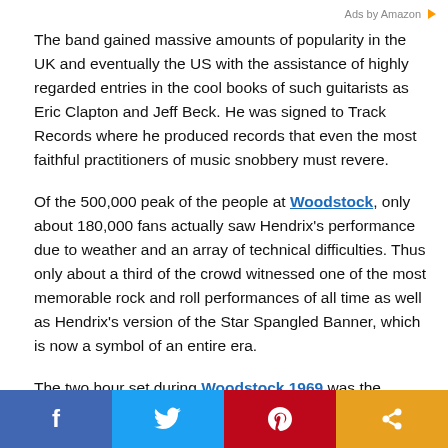Ads by Amazon
The band gained massive amounts of popularity in the UK and eventually the US with the assistance of highly regarded entries in the cool books of such guitarists as Eric Clapton and Jeff Beck. He was signed to Track Records where he produced records that even the most faithful practitioners of music snobbery must revere.
Of the 500,000 peak of the people at Woodstock, only about 180,000 fans actually saw Hendrix's performance due to weather and an array of technical difficulties. Thus only about a third of the crowd witnessed one of the most memorable rock and roll performances of all time as well as Hendrix's version of the Star Spangled Banner, which is now a symbol of an entire era.
The two hour set during Woodstock 1969 was the longest of
f  [twitter]  p  [share]